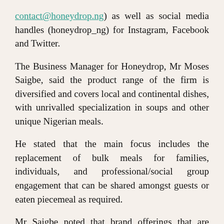contact@honeydrop.ng) as well as social media handles (honeydrop_ng) for Instagram, Facebook and Twitter.
The Business Manager for Honeydrop, Mr Moses Saigbe, said the product range of the firm is diversified and covers local and continental dishes, with unrivalled specialization in soups and other unique Nigerian meals.
He stated that the main focus includes the replacement of bulk meals for families, individuals, and professional/social group engagement that can be shared amongst guests or eaten piecemeal as required.
Mr Saigbe noted that brand offerings that are based on a proper study of consumer needs and challenges would continue to remain in high demand, adding that Honeydrop's experience since it came on stream has proved that there are still niches in the food market to tap into by willing entrepreneurs and investors.